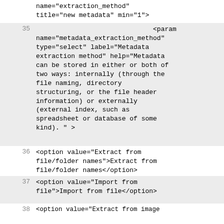name="extraction_method" title="new metadata" min="1">
35    <param name="metadata_extraction_method" type="select" label="Metadata extraction method" help="Metadata can be stored in either or both of two ways: internally (through the file naming, directory structuring, or the file header information) or externally (external index, such as spreadsheet or database of some kind). " >
36    <option value="Extract from file/folder names">Extract from file/folder names</option>
37    <option value="Import from file">Import from file</option>
38    <option value="Extract from image file headers">Extract from image file headers</option>
39    </param>
40    <conditional name="con_metadata_source">
41    <param name="metadata_source"